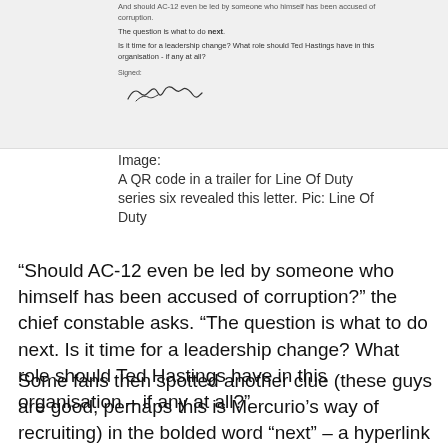[Figure (photo): Scanned letter document with text about AC-12 leadership and a handwritten signature reading 'Philip Osborne']
Image:
A QR code in a trailer for Line Of Duty series six revealed this letter. Pic: Line Of Duty
“Should AC-12 even be led by someone who himself has been accused of corruption?” the chief constable asks. “The question is what to do next. Is it time for a leadership change? What role should Ted Hastings have in this organisation – if any at all?”
Some fans then spotted another clue (these guys are good, perhaps this is Mercurio’s way of recruiting) in the bolded word “next” – a hyperlink to a prescription for